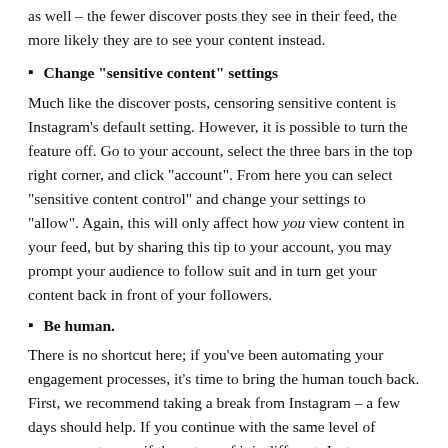as well – the fewer discover posts they see in their feed, the more likely they are to see your content instead.
Change “sensitive content” settings
Much like the discover posts, censoring sensitive content is Instagram’s default setting. However, it is possible to turn the feature off. Go to your account, select the three bars in the top right corner, and click “account”. From here you can select “sensitive content control” and change your settings to “allow”. Again, this will only affect how you view content in your feed, but by sharing this tip to your account, you may prompt your audience to follow suit and in turn get your content back in front of your followers.
Be human.
There is no shortcut here; if you’ve been automating your engagement processes, it’s time to bring the human touch back. First, we recommend taking a break from Instagram – a few days should help. If you continue with the same level of engagement, even if the nature of it is different, Instagram